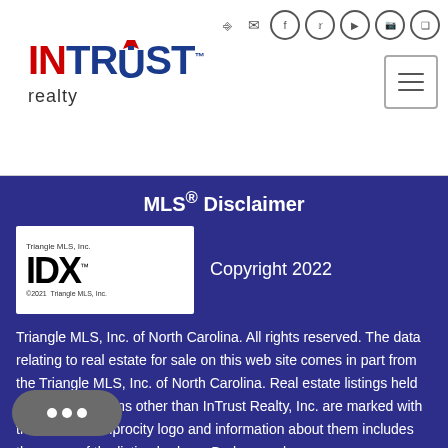[Figure (logo): InTrust Realty logo with red IN and blue TRUST text]
MLS® Disclaimer
[Figure (logo): Triangle MLS IDX logo with copyright 2021 text]
Copyright 2022
Triangle MLS, Inc. of North Carolina. All rights reserved. The data relating to real estate for sale on this web site comes in part from the Triangle MLS, Inc. of North Carolina. Real estate listings held by brokerage firms other than InTrust Realty, Inc. are marked with the Broker Reciprocity logo and information about them includes the name of the listing brokers. Brokers make an